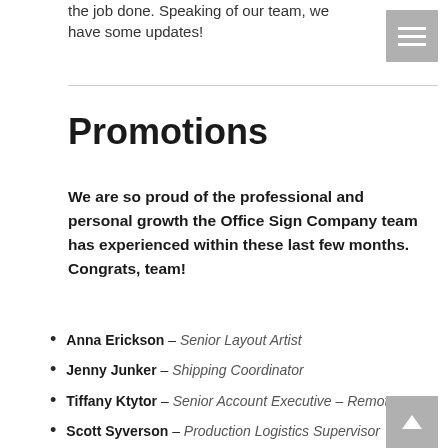the job done. Speaking of our team, we have some updates!
Promotions
We are so proud of the professional and personal growth the Office Sign Company team has experienced within these last few months. Congrats, team!
Anna Erickson – Senior Layout Artist
Jenny Junker – Shipping Coordinator
Tiffany Ktytor – Senior Account Executive – Remote
Scott Syverson – Production Logistics Supervisor
Kali Vinson – Account Manager